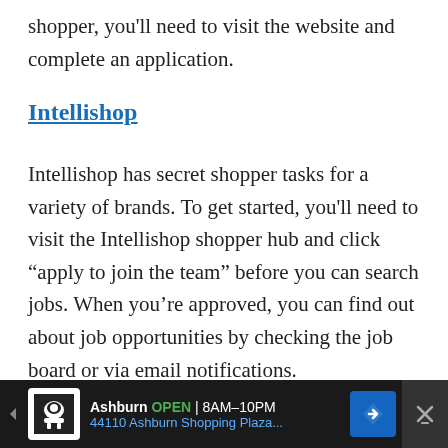shopper, you'll need to visit the website and complete an application.
Intellishop
Intellishop has secret shopper tasks for a variety of brands. To get started, you'll need to visit the Intellishop shopper hub and click “apply to join the team” before you can search jobs. When you’re approved, you can find out about job opportunities by checking the job board or via email notifications.
[Figure (screenshot): Advertisement banner at the bottom showing Ashburn location, OPEN 8AM-10PM, 44110 Ashburn Shopping Plaza..., with navigation icon and close button]